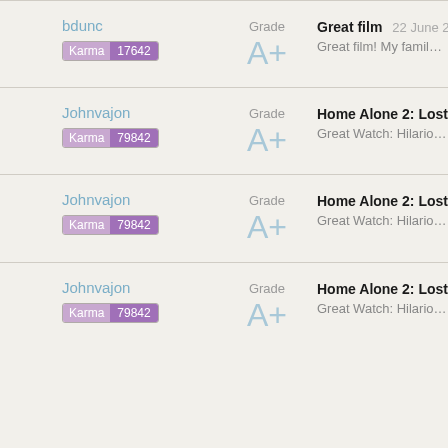bdunc | Karma 17642 | Grade A+ | Great film 22 June 2020 | Great film! My family and I really enjo
Johnvajon | Karma 79842 | Grade A+ | Home Alone 2: Lost in New York | Great Watch: Hilariously Funny! My g
Johnvajon | Karma 79842 | Grade A+ | Home Alone 2: Lost in New York | Great Watch: Hilariously Funny! My g
Johnvajon | Karma 79842 | Grade A+ | Home Alone 2: Lost in New York | Great Watch: Hilariously Funny! Show